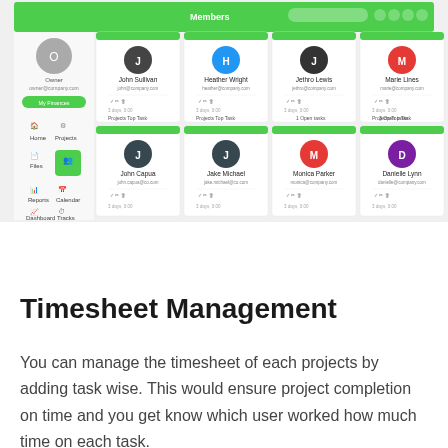[Figure (screenshot): Screenshot of a project management web application showing a Members section. The interface has a green sidebar navigation with icons for Home, Projects, Files, Members, Calendar, Dashboard, and Tracks. The main area shows a grid of member cards with avatar initials (J, H, J, M in the top row and J, J, M, D in the bottom row), names, email addresses, and stats. Top member shown: John Sullivan, Heather Wright, Jethro Lewis, Marie Lines. Bottom members: John Capua, Jake Michael, Monica Parker, Danielle Lynn. The header bar is green with 'Members' label and search/action buttons.]
Timesheet Management
You can manage the timesheet of each projects by adding task wise. This would ensure project completion on time and you get know which user worked how much time on each task.